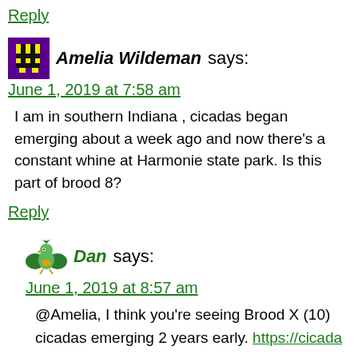Reply
Amelia Wildeman says:
June 1, 2019 at 7:58 am
I am in southern Indiana , cicadas began emerging about a week ago and now there’s a constant whine at Harmonie state park. Is this part of brood 8?
Reply
Dan says:
June 1, 2019 at 8:57 am
@Amelia, I think you’re seeing Brood X (10) cicadas emerging 2 years early. https://cicada